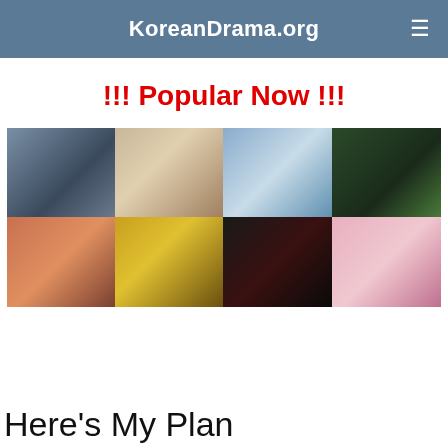KoreanDrama.org
!!! Popular Now !!!
[Figure (photo): A 2x4 grid of Korean drama poster thumbnails showing various dramas with characters in different scenes and settings.]
Here's My Plan